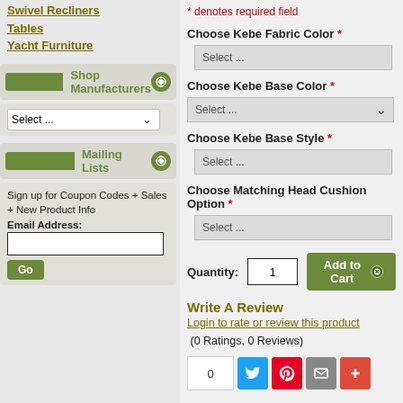Swivel Recliners
Tables
Yacht Furniture
Shop Manufacturers
Select ...
Mailing Lists
Sign up for Coupon Codes + Sales + New Product Info
Email Address:
* denotes required field
Choose Kebe Fabric Color *
Select ...
Choose Kebe Base Color *
Select ...
Choose Kebe Base Style *
Select ...
Choose Matching Head Cushion Option *
Select ...
Quantity: 1  Add to Cart
Write A Review
Login to rate or review this product
(0 Ratings, 0 Reviews)
0